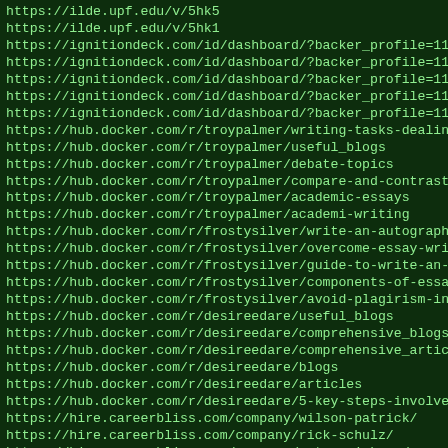https://ilde.upf.edu/v/5hk5
https://ilde.upf.edu/v/5hk1
https://ignitiondeck.com/id/dashboard/?backer_profile=11897
https://ignitiondeck.com/id/dashboard/?backer_profile=11897
https://ignitiondeck.com/id/dashboard/?backer_profile=11897
https://ignitiondeck.com/id/dashboard/?backer_profile=11896
https://ignitiondeck.com/id/dashboard/?backer_profile=11896
https://hub.docker.com/r/troypalmer/writing-tasks-dealing
https://hub.docker.com/r/troypalmer/useful_blogs
https://hub.docker.com/r/troypalmer/debate-topics
https://hub.docker.com/r/troypalmer/compare-and-contrast-es
https://hub.docker.com/r/troypalmer/academic-essays
https://hub.docker.com/r/troypalmer/academi-writing
https://hub.docker.com/r/frostysilver/write-an-autography
https://hub.docker.com/r/frostysilver/overcome-essay-writin
https://hub.docker.com/r/frostysilver/guide-to-write-an-ess
https://hub.docker.com/r/frostysilver/components-of-essay-w
https://hub.docker.com/r/frostysilver/avoid-plagirism-in-yo
https://hub.docker.com/r/desireedare/useful_blogs
https://hub.docker.com/r/desireedare/comprehensive_blogs
https://hub.docker.com/r/desireedare/comprehensive_articles
https://hub.docker.com/r/desireedare/blogs
https://hub.docker.com/r/desireedare/articles
https://hub.docker.com/r/desireedare/5-key-steps-involved-i
https://hire.careerbliss.com/company/wilson-patrick/
https://hire.careerbliss.com/company/rick-schulz/
https://hire.careerbliss.com/company/peter-rickson/
https://hire.careerbliss.com/company/monica-grace/
https://hire.careerbliss.com/company/andrews-west/